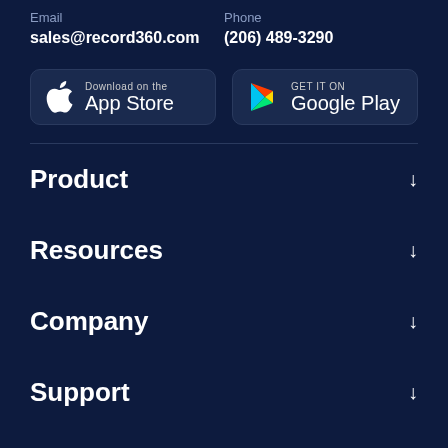Email
sales@record360.com
Phone
(206) 489-3290
[Figure (other): Download on the App Store badge button]
[Figure (other): Get it on Google Play badge button]
Product
Resources
Company
Support